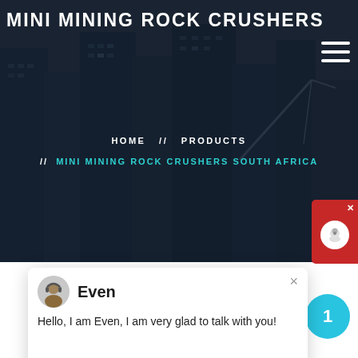MINI MINING ROCK CRUSHERS
HOME // PRODUCTS // MINI MINING ROCK CRUSHERS SOUTH AFRICA
[Figure (screenshot): Chat popup with avatar of support agent named Even, saying 'Hello, I am Even, I am very glad to talk with you!']
[Figure (photo): Industrial mini mining rock crusher machine photographed in a factory/warehouse setting]